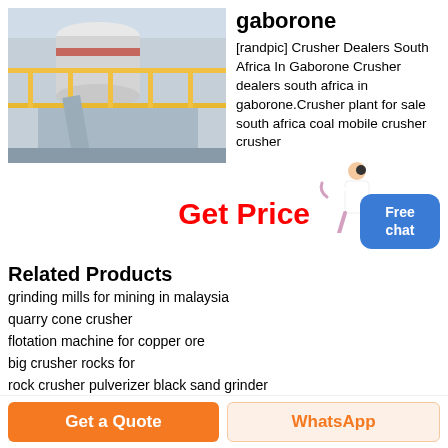[Figure (photo): Industrial crusher/mill equipment with yellow railings and scaffolding in a factory setting]
gaborone
[randpic] Crusher Dealers South Africa In Gaborone Crusher dealers south africa in gaborone.Crusher plant for sale south africa coal mobile crusher crusher
[Figure (illustration): Woman in white outfit gesturing, customer service representative icon]
Get Price
Free chat
Related Products
grinding mills for mining in malaysia
quarry cone crusher
flotation machine for copper ore
big crusher rocks for
rock crusher pulverizer black sand grinder
gyratory primary crusher for sale
Get a Quote
WhatsApp